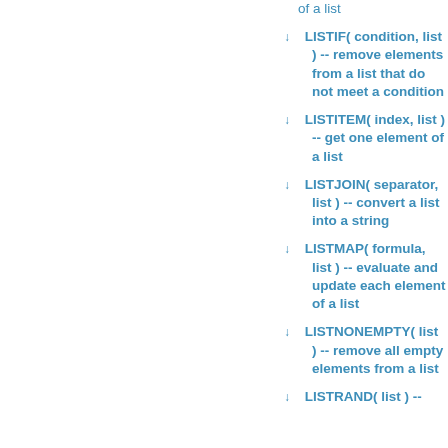of a list
LISTIF( condition, list ) -- remove elements from a list that do not meet a condition
LISTITEM( index, list ) -- get one element of a list
LISTJOIN( separator, list ) -- convert a list into a string
LISTMAP( formula, list ) -- evaluate and update each element of a list
LISTNONEMPTY( list ) -- remove all empty elements from a list
LISTRAND( list ) --